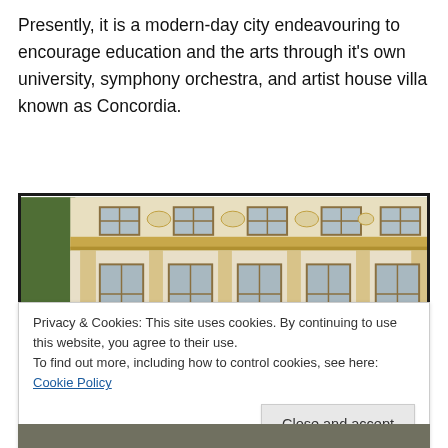Presently, it is a modern-day city endeavouring to encourage education and the arts through it's own university, symphony orchestra, and artist house villa known as Concordia.
[Figure (photo): Photograph of a classical European building facade with ornate stonework, arched entryways, and multiple windows across two stories. The building has cream-colored walls with golden-tan stone trim and decorative architectural details.]
Privacy & Cookies: This site uses cookies. By continuing to use this website, you agree to their use.
To find out more, including how to control cookies, see here: Cookie Policy
[Close and accept]